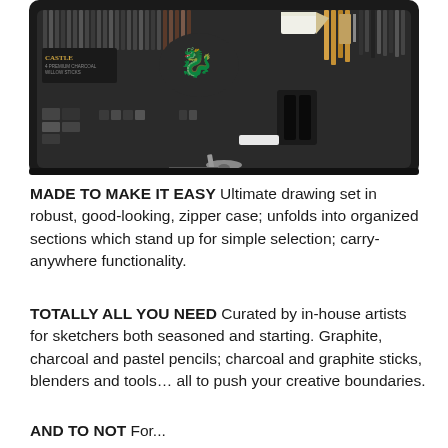[Figure (photo): Open black zippered art supply case showing organized sections with pencils, charcoal sticks, blenders, and various drawing tools arranged neatly inside.]
MADE TO MAKE IT EASY Ultimate drawing set in robust, good-looking, zipper case; unfolds into organized sections which stand up for simple selection; carry-anywhere functionality.
TOTALLY ALL YOU NEED Curated by in-house artists for sketchers both seasoned and starting. Graphite, charcoal and pastel pencils; charcoal and graphite sticks, blenders and tools… all to push your creative boundaries.
AND TO NOT For...